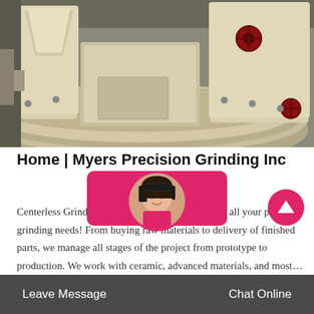[Figure (photo): Industrial centerless grinding machinery in a factory setting. Large circular grinding machine with cream/off-white painted metal housing, multiple bolt attachments around the rim, and industrial equipment in the background.]
Home | Myers Precision Grinding Inc
Centerless Grinding Services. A one stop shop for all your precision grinding needs! From buying raw materials to delivery of finished parts, we manage all stages of the project from prototype to production. We work with ceramic, advanced materials, and most…
[Figure (screenshot): Pink/magenta rounded rectangle chat button overlay with partially obscured text, and circular avatar photo of a woman with headset]
Leave Message   Chat Online